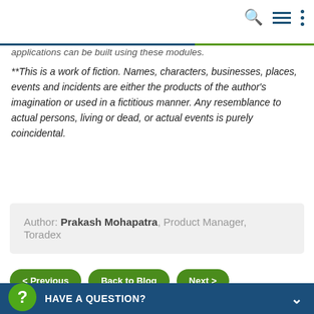applications can be built using these modules.
**This is a work of fiction. Names, characters, businesses, places, events and incidents are either the products of the author’s imagination or used in a fictitious manner. Any resemblance to actual persons, living or dead, or actual events is purely coincidental.
Author: Prakash Mohapatra, Product Manager, Toradex
< Previous   Back to Blog   Next >
1 comments
HAVE A QUESTION?